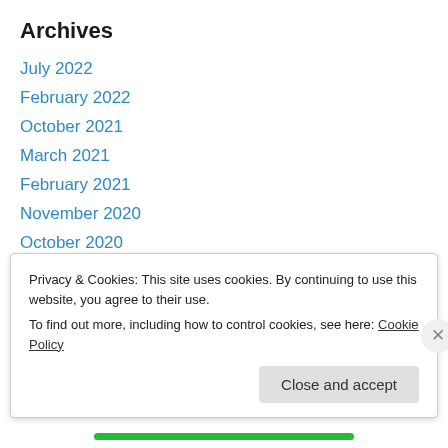Archives
July 2022
February 2022
October 2021
March 2021
February 2021
November 2020
October 2020
September 2020
May 2020
September 2019
May 2019
Privacy & Cookies: This site uses cookies. By continuing to use this website, you agree to their use.
To find out more, including how to control cookies, see here: Cookie Policy
Close and accept